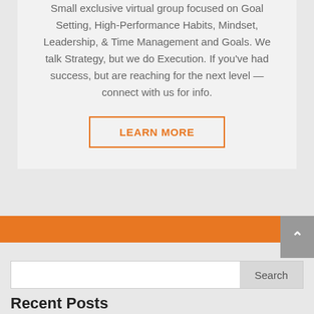Small exclusive virtual group focused on Goal Setting, High-Performance Habits, Mindset, Leadership, & Time Management and Goals. We talk Strategy, but we do Execution. If you've had success, but are reaching for the next level — connect with us for info.
LEARN MORE
Recent Posts
How to Use 4 Rock Method New Year Resolution for